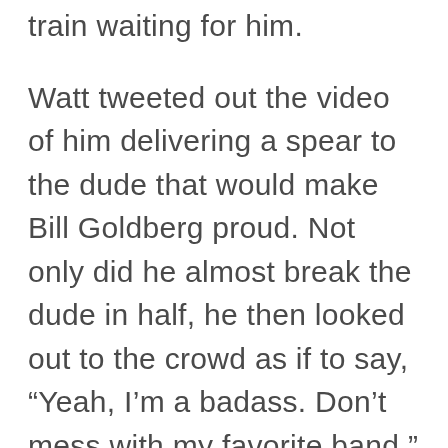train waiting for him.
Watt tweeted out the video of him delivering a spear to the dude that would make Bill Goldberg proud. Not only did he almost break the dude in half, he then looked out to the crowd as if to say, “Yeah, I’m a badass. Don’t mess with my favorite band.”